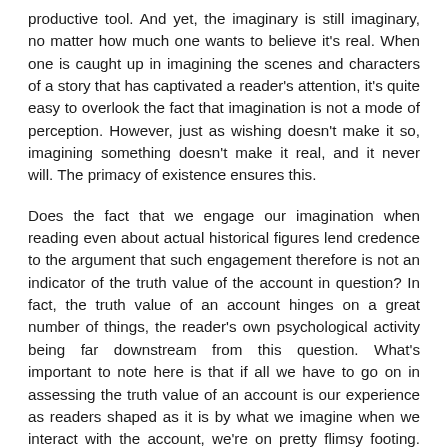productive tool. And yet, the imaginary is still imaginary, no matter how much one wants to believe it's real. When one is caught up in imagining the scenes and characters of a story that has captivated a reader's attention, it's quite easy to overlook the fact that imagination is not a mode of perception. However, just as wishing doesn't make it so, imagining something doesn't make it real, and it never will. The primacy of existence ensures this.
Does the fact that we engage our imagination when reading even about actual historical figures lend credence to the argument that such engagement therefore is not an indicator of the truth value of the account in question? In fact, the truth value of an account hinges on a great number of things, the reader's own psychological activity being far downstream from this question. What's important to note here is that if all we have to go on in assessing the truth value of an account is our experience as readers shaped as it is by what we imagine when we interact with the account, we're on pretty flimsy footing. Just as when I had an imaginary friend when I was a six year-old boy growing up in rural California, I'm imagining Jesus when I read the gospels. The operable